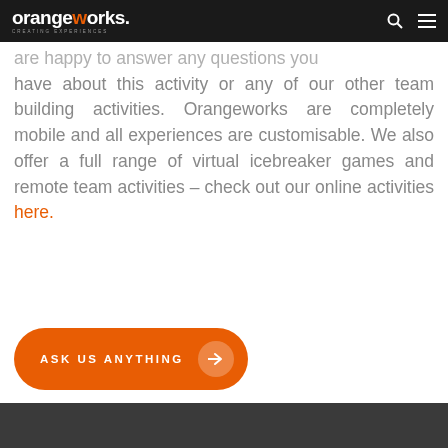orangeworks. CREATING EXPERIENCES
are happy to answer any questions you have about this activity or any of our other team building activities. Orangeworks are completely mobile and all experiences are customisable. We also offer a full range of virtual icebreaker games and remote team activities – check out our online activities here.
ASK US ANYTHING →